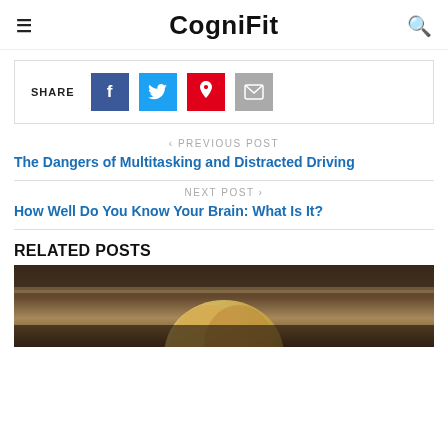CogniFit
[Figure (screenshot): Social share bar with SHARE label and Facebook, Twitter, Pinterest, Email buttons]
< PREVIOUS POST
The Dangers of Multitasking and Distracted Driving
NEXT POST >
How Well Do You Know Your Brain: What Is It?
RELATED POSTS
[Figure (photo): Related post thumbnail image showing a vintage or illustrated scene with a figure with blonde hair against a dark textured background]